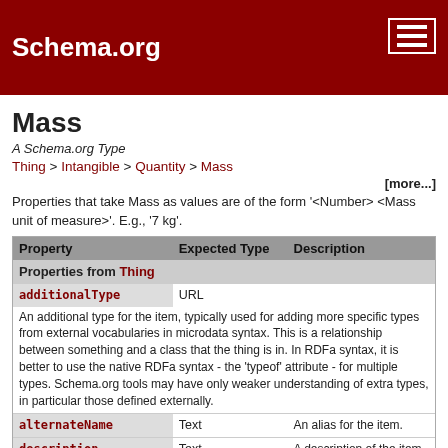Schema.org
Mass
A Schema.org Type
Thing > Intangible > Quantity > Mass
[more...]
Properties that take Mass as values are of the form '<Number> <Mass unit of measure>'. E.g., '7 kg'.
| Property | Expected Type | Description |
| --- | --- | --- |
| Properties from Thing |  |  |
| additionalType | URL | An additional type for the item, typically used for adding more specific types from external vocabularies in microdata syntax. This is a relationship between something and a class that the thing is in. In RDFa syntax, it is better to use the native RDFa syntax - the 'typeof' attribute - for multiple types. Schema.org tools may have only weaker understanding of extra types, in particular those defined externally. |
| alternateName | Text | An alias for the item. |
| description | Text | A description of the item. |